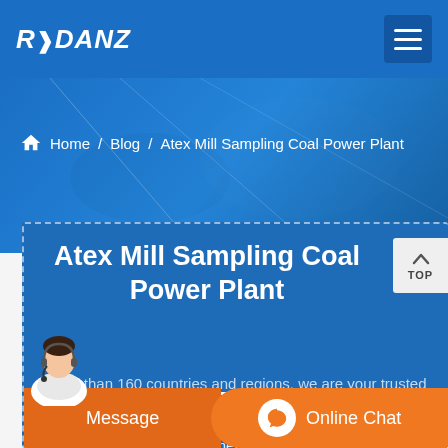RYDANZ
[Figure (screenshot): Blue hero banner with machinery background]
Home / Blog / Atex Mill Sampling Coal Power Plant
Atex Mill Sampling Coal Power Plant
The company mainly produces five series of products, including crushing equipment, sand making equipment, mineral processing equipment, grinding equipment and more than 160 countries and regions, we are your trusted